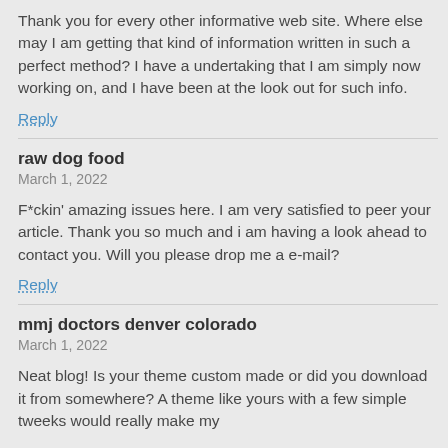Thank you for every other informative web site. Where else may I am getting that kind of information written in such a perfect method? I have a undertaking that I am simply now working on, and I have been at the look out for such info.
Reply
raw dog food
March 1, 2022
F*ckin' amazing issues here. I am very satisfied to peer your article. Thank you so much and i am having a look ahead to contact you. Will you please drop me a e-mail?
Reply
mmj doctors denver colorado
March 1, 2022
Neat blog! Is your theme custom made or did you download it from somewhere? A theme like yours with a few simple tweeks would really make my